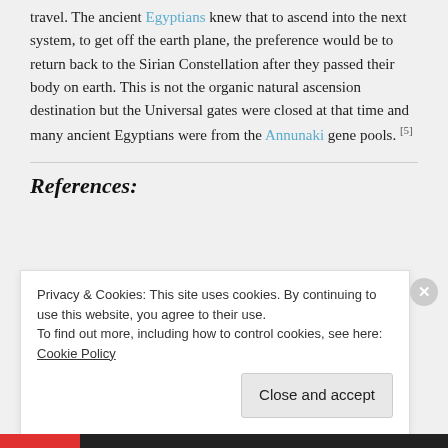travel. The ancient Egyptians knew that to ascend into the next system, to get off the earth plane, the preference would be to return back to the Sirian Constellation after they passed their body on earth. This is not the organic natural ascension destination but the Universal gates were closed at that time and many ancient Egyptians were from the Annunaki gene pools. [5]
References:
Privacy & Cookies: This site uses cookies. By continuing to use this website, you agree to their use.
To find out more, including how to control cookies, see here: Cookie Policy